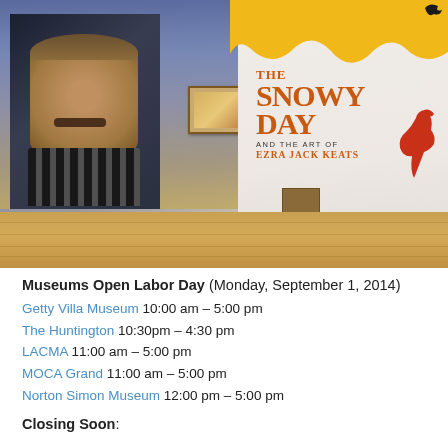[Figure (photo): Museum gallery interior showing a large black-and-white portrait of Ezra Jack Keats on the left wall with gallery paintings, and on the right an exhibition wall reading 'The Snowy Day and the Art of Ezra Jack Keats' in orange text with yellow cloud shapes and a red bird silhouette. Hardwood floor visible at bottom.]
Museums Open Labor Day (Monday, September 1, 2014)
Getty Villa Museum 10:00 am – 5:00 pm
The Huntington 10:30pm – 4:30 pm
LACMA 11:00 am – 5:00 pm
MOCA Grand 11:00 am – 5:00 pm
Norton Simon Museum 12:00 pm – 5:00 pm
Closing Soon: